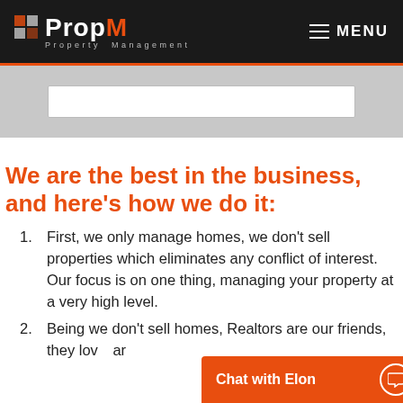PropM Property Management — MENU
[Figure (screenshot): Search bar input field on grey background]
We are the best in the business, and here's how we do it:
First, we only manage homes, we don't sell properties which eliminates any conflict of interest. Our focus is on one thing, managing your property at a very high level.
Being we don't sell homes, Realtors are our friends, they lov… ar